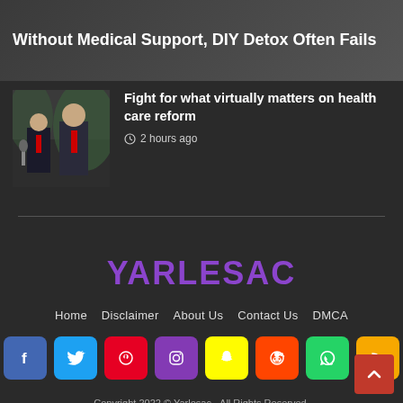Without Medical Support, DIY Detox Often Fails
[Figure (photo): Two men in suits standing outdoors, one wearing a red tie, at a press event]
Fight for what virtually matters on health care reform
2 hours ago
[Figure (logo): YARLESAC website logo in purple text]
Home   Disclaimer   About Us   Contact Us   DMCA
[Figure (infographic): Row of social media icons: Facebook, Twitter, Pinterest, Instagram, Snapchat, Reddit, WhatsApp, RSS]
Copyright 2022 © Yarlesac - All Rights Reserved.